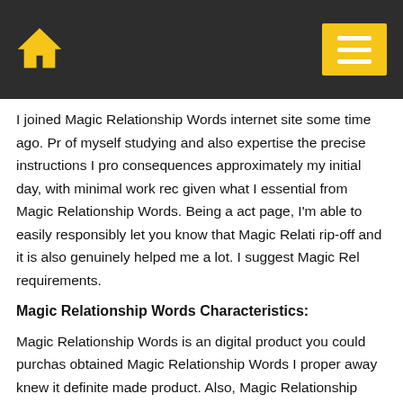Home icon and menu button
I joined Magic Relationship Words internet site some time ago. Pr of myself studying and also expertise the precise instructions I pr consequences approximately my initial day, with minimal work re given what I essential from Magic Relationship Words. Being a act page, I'm able to easily responsibly let you know that Magic Relati rip-off and it is also genuinely helped me a lot. I suggest Magic Re requirements.
Magic Relationship Words Characteristics:
Magic Relationship Words is an digital product you could purchas obtained Magic Relationship Words I proper away knew it definite made product. Also, Magic Relationship Words could be affordabl especially reasonably-priced to get a product that essentially wor Magic Relationship Words is a excellent electronic product which i